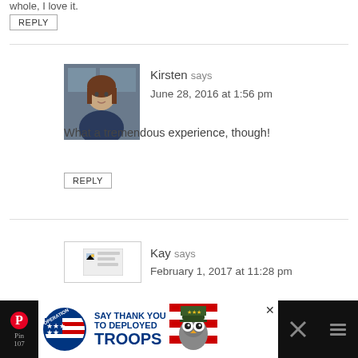whole, I love it.
REPLY
[Figure (photo): Avatar photo of Kirsten, a woman with brown hair]
Kirsten says
June 28, 2016 at 1:56 pm
What a tremendous experience, though!
REPLY
[Figure (photo): Placeholder avatar image for Kay]
Kay says
February 1, 2017 at 11:28 pm
Mexican people usually don't eat
[Figure (infographic): Operation Gratitude advertisement banner: SAY THANK YOU TO DEPLOYED TROOPS with star-spangled banner logo and owl mascot]